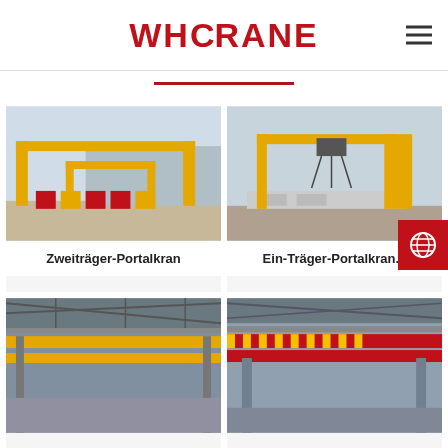WHCRANE
[Figure (photo): Yellow double-girder gantry crane in an outdoor industrial yard with red/yellow machinery below]
Zweiträger-Portalkran
[Figure (photo): Yellow single-girder gantry crane in an outdoor construction site with concrete precast elements]
Ein-Träger-Portalkran...
[Figure (photo): Yellow overhead bridge crane inside a large industrial warehouse]
[Figure (photo): Red double-girder overhead crane inside a steel factory building]